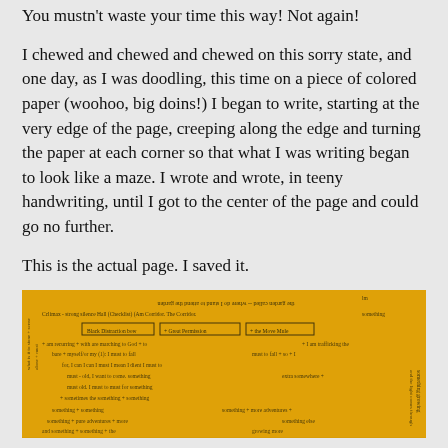You mustn't waste your time this way! Not again!
I chewed and chewed and chewed on this sorry state, and one day, as I was doodling, this time on a piece of colored paper (woohoo, big doins!) I began to write, starting at the very edge of the page, creeping along the edge and turning the paper at each corner so that what I was writing began to look like a maze. I wrote and wrote, in teeny handwriting, until I got to the center of the page and could go no further.
This is the actual page. I saved it.
[Figure (photo): A yellow colored paper filled with handwritten text in a spiral/maze pattern, with some boxed sections visible, written in dark ink on golden yellow paper.]